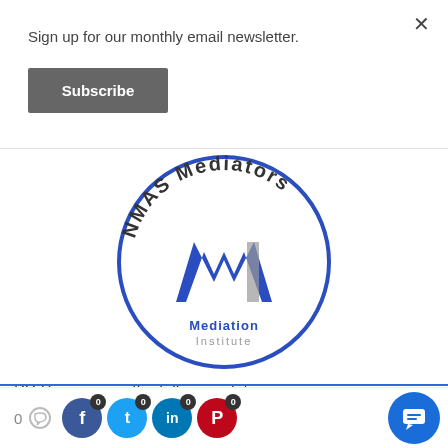Sign up for our monthly email newsletter.
Subscribe
[Figure (logo): NMAS Mediators circular logo with Mediation Institute text and stylized M icon in blue and grey]
PD Sessions on the following dates:
0 [comment icon] 0 [Facebook] 0 [Twitter] 0 [LinkedIn] 0 [Pinterest] [chat button]